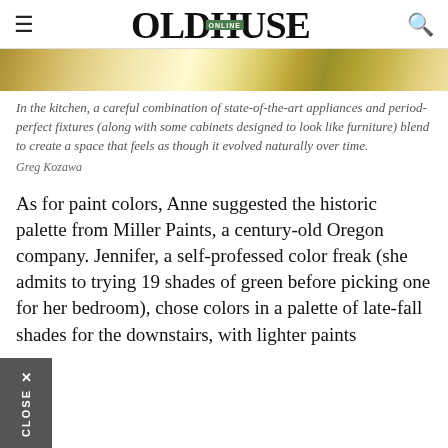OLDHOUSE ONLINE
[Figure (photo): Close-up strip of a brushed or striated golden/cream colored surface, likely a decorative image related to a kitchen or home interior.]
In the kitchen, a careful combination of state-of-the-art appliances and period-perfect fixtures (along with some cabinets designed to look like furniture) blend to create a space that feels as though it evolved naturally over time.
Greg Kozawa
As for paint colors, Anne suggested the historic palette from Miller Paints, a century-old Oregon company. Jennifer, a self-professed color freak (she admits to trying 19 shades of green before picking one for her bedroom), chose colors in a palette of late-fall shades for the downstairs, with lighter paints